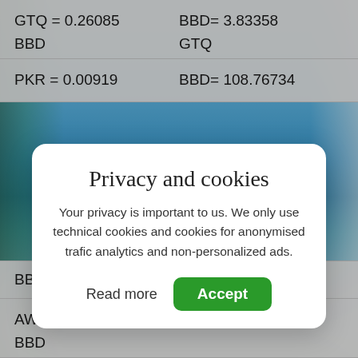| GTQ = 0.26085 BBD | BBD= 3.83358 GTQ |
| PKR = 0.00919 | BBD= 108.76734 |
[Figure (screenshot): Privacy and cookies modal dialog with 'Read more' and 'Accept' buttons overlaid on a currency conversion webpage with a beach background]
| BBD | MKD |
| AWG = 1.11545 BBD | BBD= 0.8965 AWG |
| BBD |  |